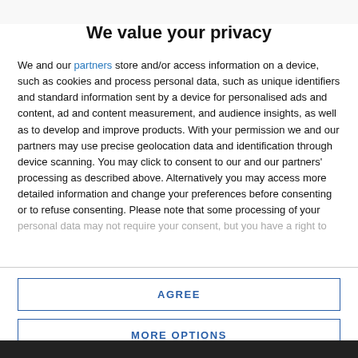[Figure (photo): Dark background image partially visible at top of page (blurred/cropped)]
We value your privacy
We and our partners store and/or access information on a device, such as cookies and process personal data, such as unique identifiers and standard information sent by a device for personalised ads and content, ad and content measurement, and audience insights, as well as to develop and improve products. With your permission we and our partners may use precise geolocation data and identification through device scanning. You may click to consent to our and our partners' processing as described above. Alternatively you may access more detailed information and change your preferences before consenting or to refuse consenting. Please note that some processing of your personal data may not require your consent, but you have a right to
AGREE
MORE OPTIONS
[Figure (photo): Dark background image partially visible at bottom of page]